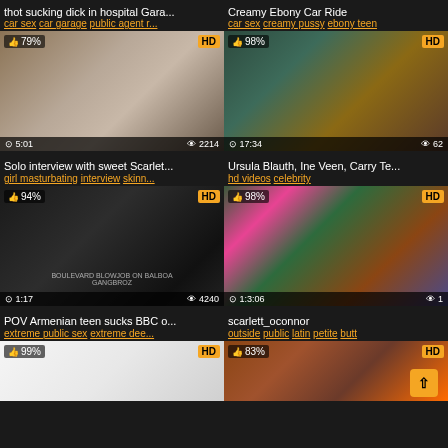thot sucking dick in hospital Gara...
car sex car garage public agent r...
Creamy Ebony Car Ride
car sex creamy pussy ebony teen
[Figure (photo): Video thumbnail - 79% rating, HD, 5:01 duration, 2214 views]
[Figure (photo): Video thumbnail - 98% rating, HD, 17:34 duration, 62 views]
Solo interview with sweet Scarlet...
girl masturbating interview skinn...
Ursula Blauth, Ine Veen, Carry Te...
hd videos celebrity
[Figure (photo): Video thumbnail - 94% rating, HD, 1:17 duration, 4240 views, BOULEVARD BLOWJOB ON BALBOA / GANGBROZ watermark]
[Figure (photo): Video thumbnail - 98% rating, HD, 1:3:06 duration, 1 view]
POV Armenian teen sucks BBC o...
extreme public sex extreme dee...
scarlett_oconnor
outside public latin petite butt
[Figure (photo): Video thumbnail - 99% rating, HD, partial view]
[Figure (photo): Video thumbnail - 83% rating, HD, partial view]